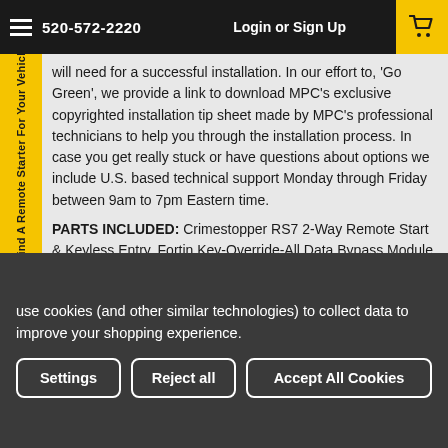520-572-2220  Login or Sign Up
will need for a successful installation. In our effort to, 'Go Green', we provide a link to download MPC's exclusive copyrighted installation tip sheet made by MPC's professional technicians to help you through the installation process. In case you get really stuck or have questions about options we include U.S. based technical support Monday through Friday between 9am to 7pm Eastern time.
PARTS INCLUDED: Crimestopper RS7 2-Way Remote Start & Keyless Entry, Fortin Key-Override-All Data Bypass Module,
VEHICLE: 2007 Lincoln MKZ - Key-to-Start - Gas
REMOTES: 5-Button 2-Way Remote Range 3000'
RANGE: Up To 3,000 ft
IGNITION TYPE: Key-to-Start
FUEL TYPE: Gas
SPECIAL NOTES: Compatible with automatic transmission vehicles
use cookies (and other similar technologies) to collect data to improve your shopping experience.